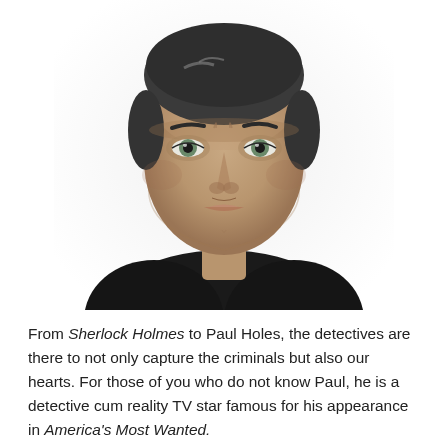[Figure (photo): Portrait photo of a middle-aged man with dark grey hair, green eyes, and a serious expression, wearing a dark/black jacket, against a white background.]
From Sherlock Holmes to Paul Holes, the detectives are there to not only capture the criminals but also our hearts. For those of you who do not know Paul, he is a detective cum reality TV star famous for his appearance in America's Most Wanted.